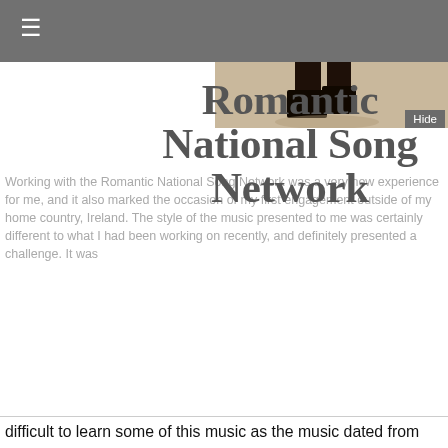≡
[Figure (photo): Partial view of a person's legs/lower body standing, shown from knees down against a light beige background]
Romantic National Song Network
Working with the Romantic National Song Network was a very new experience for me, and it also marked the occasion of my first engagement outside of my home country, Ireland. The style of the music presented to me was certainly different to what I had been working on recently, and definitely presented a challenge. It was difficult to learn some of this music as the music dated from 1750-1850 and there were not many recordings available at my disposal to understand how the pieces might be performed. This was very quickly cleared up by the members of the RNSN when we began rehearsals and workshops on the weekend of the performance. The reception I received from the members and other performers of the RNSN was so warm and encouraging, which really made the experience special. The members provided us with a great knowledge and understanding of the historical and performance context of each piece and